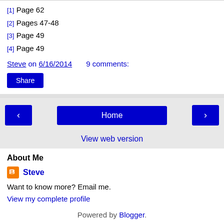[1] Page 62
[2] Pages 47-48
[3] Page 49
[4] Page 49
Steve on 6/16/2014    9 comments:
Share
< Home >
View web version
About Me
Steve
Want to know more? Email me.
View my complete profile
Powered by Blogger.